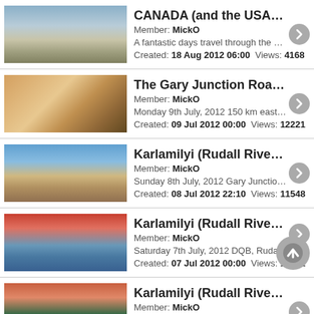CANADA (and the USA) - Badlan... | Member: MickO | A fantastic days travel through the Black Hills of Dakot... | Created: 18 Aug 2012 06:00  Views: 4168
The Gary Junction Road - More b... | Member: MickO | Monday 9th July, 2012 150 km east of Kiwirrkurra...5 ... | Created: 09 Jul 2012 00:00  Views: 12221
Karlamilyi (Rudall River) - An apo... | Member: MickO | Sunday 8th July, 2012 Gary Junction Road-Gary High... | Created: 08 Jul 2012 22:10  Views: 11548
Karlamilyi (Rudall River) - DISCO... | Member: MickO | Saturday 7th July, 2012 DQB, Rudall River Today was ... | Created: 07 Jul 2012 00:00  Views: 10001
Karlamilyi (Rudall River) - An "O... | Member: MickO | Desert Queen Baths, Karlamilyi (Rudall River) Nationa... | Created: 06 Jul 2012 00:00  Views: 12502